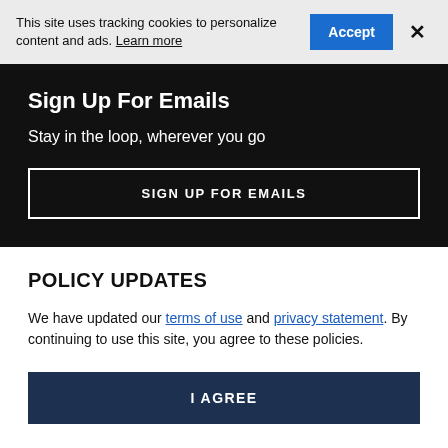This site uses tracking cookies to personalize content and ads. Learn more
Accept
×
Sign Up For Emails
Stay in the loop, wherever you go
SIGN UP FOR EMAILS
POLICY UPDATES
We have updated our terms of use and privacy statement. By continuing to use this site, you agree to these policies.
I AGREE